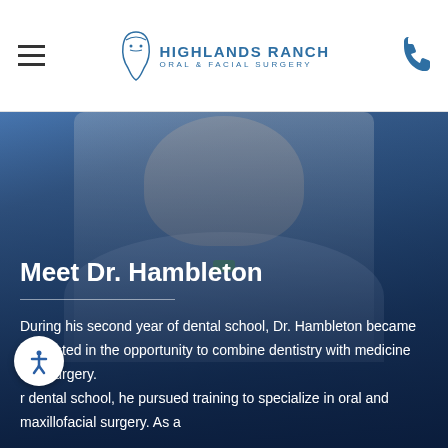Highlands Ranch Oral & Facial Surgery
[Figure (photo): Photo of Dr. Hambleton wearing a light blue suit jacket and green bow tie, smiling, shown from chest up against a blue background]
Meet Dr. Hambleton
During his second year of dental school, Dr. Hambleton became interested in the opportunity to combine dentistry with medicine and surgery. After dental school, he pursued training to specialize in oral and maxillofacial surgery. As a